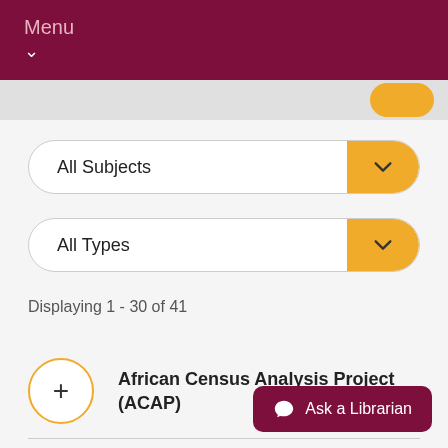Menu
All Subjects
All Types
Displaying 1 - 30 of 41
African Census Analysis Project (ACAP)
Afrobarometer
Ask a Librarian